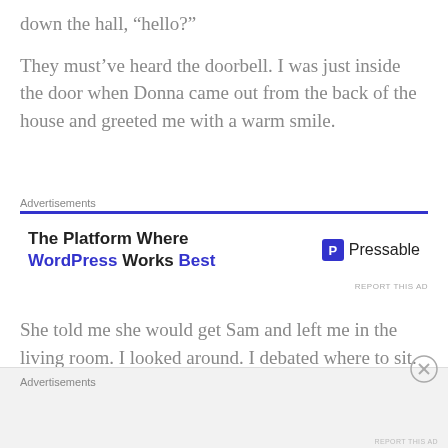down the hall, “hello?”
They must’ve heard the doorbell. I was just inside the door when Donna came out from the back of the house and greeted me with a warm smile.
[Figure (other): Pressable advertisement banner. Title: 'The Platform Where WordPress Works Best'. Brand logo: Pressable with a blue P icon.]
She told me she would get Sam and left me in the living room. I looked around. I debated where to sit. The old wingback chairs or antique couch? The furniture and decor remained largely unchanged from my last
[Figure (other): Bottom advertisement banner area with Advertisements label and REPORT THIS AD text.]